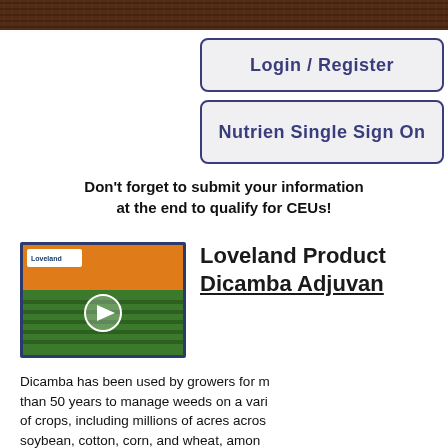[Figure (photo): Aerial view of tilled crop field rows, brown soil texture, used as header banner image]
Login / Register
Nutrien Single Sign On
Don't forget to submit your information at the end to qualify for CEUs!
[Figure (screenshot): Thumbnail of Loveland Products Dicamba Adjuvant course video, showing green plant field and orange background with play button overlay]
Loveland Products Dicamba Adjuvant
Dicamba has been used by growers for more than 50 years to manage weeds on a variety of crops, including millions of acres across soybean, cotton, corn, and wheat, among others. Dicamba is a selective herbicide used to control a wide spectrum of broadleaf weeds. Products like Delta Gravel...